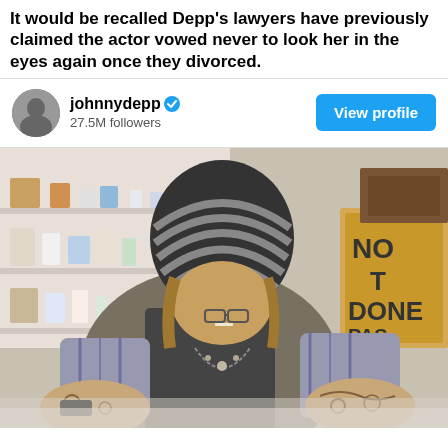It would be recalled Depp's lawyers have previously claimed the actor vowed never to look her in the eyes again once they divorced.
[Figure (screenshot): Instagram/Twitter profile card showing @johnnydepp with 27.5M followers and a 'View profile' button in blue]
[Figure (photo): Photo of a tattooed man with a striped beanie hat leaning forward, wearing a plaid shirt and vest, with a cardboard sign reading 'NOT DONE PAS FINI' visible in background]